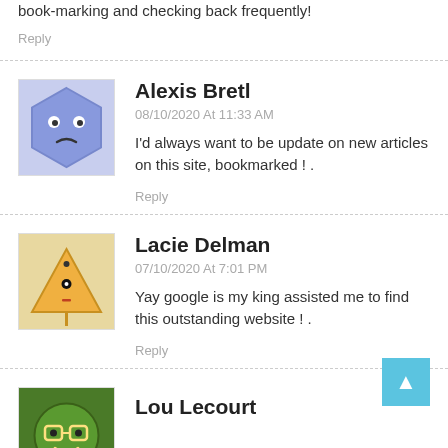book-marking and checking back frequently!
Reply
Alexis Bretl
08/10/2020 At 11:33 AM
I'd always want to be update on new articles on this site, bookmarked ! .
Reply
Lacie Delman
07/10/2020 At 7:01 PM
Yay google is my king assisted me to find this outstanding website ! .
Reply
Lou Lecourt